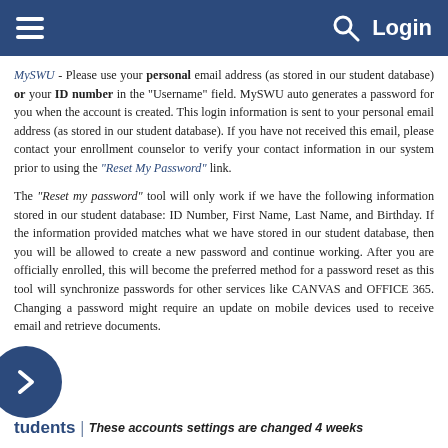Login
MySWU - Please use your personal email address (as stored in our student database) or your ID number in the "Username" field. MySWU auto generates a password for you when the account is created. This login information is sent to your personal email address (as stored in our student database). If you have not received this email, please contact your enrollment counselor to verify your contact information in our system prior to using the "Reset My Password" link.
The "Reset my password" tool will only work if we have the following information stored in our student database: ID Number, First Name, Last Name, and Birthday. If the information provided matches what we have stored in our student database, then you will be allowed to create a new password and continue working. After you are officially enrolled, this will become the preferred method for a password reset as this tool will synchronize passwords for other services like CANVAS and OFFICE 365. Changing a password might require an update on mobile devices used to receive email and retrieve documents.
tudents | These accounts settings are changed 4 weeks